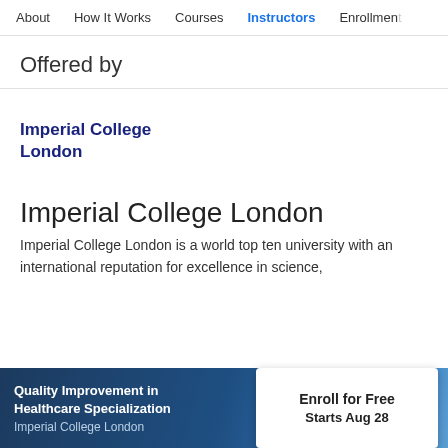About   How It Works   Courses   Instructors   Enrollment
Offered by
[Figure (logo): Imperial College London text logo in dark navy blue]
Imperial College London
Imperial College London is a world top ten university with an international reputation for excellence in science,
Quality Improvement in Healthcare Specialization
Imperial College London
Enroll for Free
Starts Aug 28